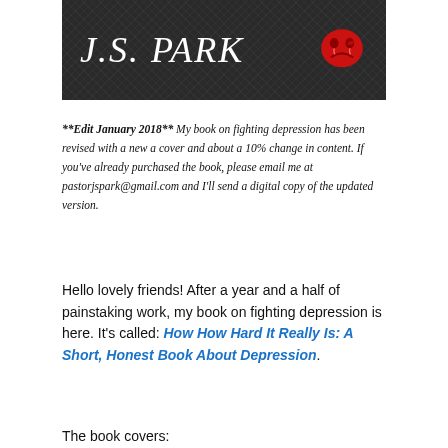[Figure (logo): Dark textured banner with J.S. PARK in white italic text on the left and a red theater comedy/tragedy mask on the right]
**Edit January 2018** My book on fighting depression has been revised with a new a cover and about a 10% change in content. If you've already purchased the book, please email me at pastorjspark@gmail.com and I'll send a digital copy of the updated version.
Hello lovely friends! After a year and a half of painstaking work, my book on fighting depression is here. It's called: How How Hard It Really Is: A Short, Honest Book About Depression.
The book covers: